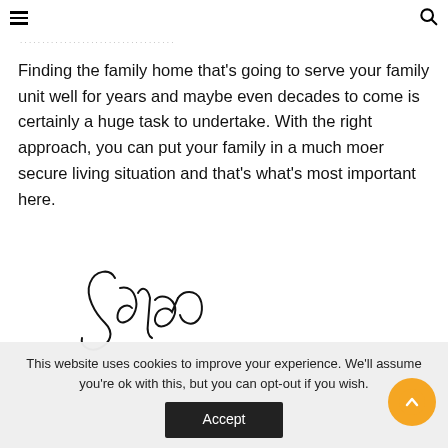≡  🔍
Finding the family home that's going to serve your family unit well for years and maybe even decades to come is certainly a huge task to undertake. With the right approach, you can put your family in a much moer secure living situation and that's what's most important here.
[Figure (illustration): Handwritten cursive signature reading 'Jade']
This website uses cookies to improve your experience. We'll assume you're ok with this, but you can opt-out if you wish.
Accept